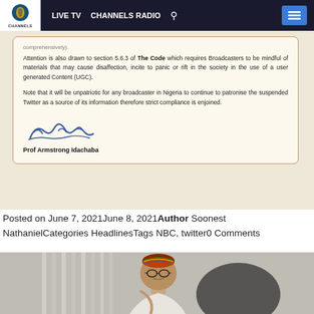LIVE TV  CHANNELS RADIO
[Figure (photo): Scanned document letter excerpt on cream paper with orange border, signed by Prof Armstrong Idachaba. Text discusses section 5.6.3 of The Code regarding broadcasters and user generated content, and states it is unpatriotic to use suspended Twitter as a source of information.]
Posted on June 7, 2021June 8, 2021Author Soonest NathanielCategories HeadlinesTags NBC, twitter0 Comments
[Figure (photo): Photo of a man wearing glasses and a colorful traditional Nigerian cap (kufi), seated in an office chair, wearing a white traditional outfit.]